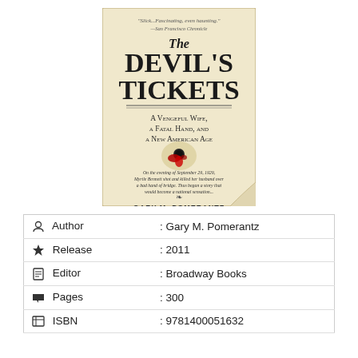[Figure (illustration): Book cover of 'The Devil's Tickets: A Vengeful Wife, a Fatal Hand, and a New American Age' by Gary M. Pomerantz. The cover features a yellowed/aged paper background with a quote at top: 'Slick...Fascinating, even haunting.' — San Francisco Chronicle. The title 'The Devil's Tickets' is displayed in large bold serif font. Subtitle: 'A Vengeful Wife, a Fatal Hand, and a New American Age'. Below is red and black decorative imagery with a brief description text. Author name 'Gary M. Pomerantz' appears at the bottom.]
| Author | : Gary M. Pomerantz |
| Release | : 2011 |
| Editor | : Broadway Books |
| Pages | : 300 |
| ISBN | : 9781400051632 |